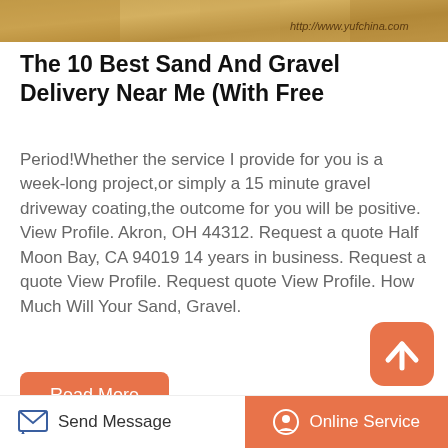[Figure (photo): Top banner image showing sand/gravel texture with a URL watermark reading http://www.yufchina.com]
The 10 Best Sand And Gravel Delivery Near Me (With Free
Period!Whether the service I provide for you is a week-long project,or simply a 15 minute gravel driveway coating,the outcome for you will be positive. View Profile. Akron, OH 44312. Request a quote Half Moon Bay, CA 94019 14 years in business. Request a quote View Profile. Request quote View Profile. How Much Will Your Sand, Gravel.
[Figure (other): Orange rounded square button with upward chevron arrow icon (scroll to top)]
Read More
[Figure (photo): Two side-by-side photos at the bottom of the page showing gravel/construction materials]
Send Message
Online Service